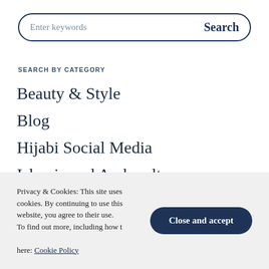Enter keywords  Search
SEARCH BY CATEGORY
Beauty & Style
Blog
Hijabi Social Media
Islamic and Arab culture
Privacy & Cookies: This site uses cookies. By continuing to use this website, you agree to their use. To find out more, including how to control cookies, see here: Cookie Policy
Close and accept